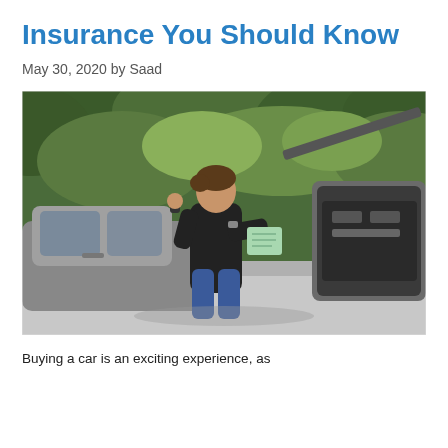Insurance You Should Know
May 30, 2020 by Saad
[Figure (photo): A young man in a black long-sleeve shirt leaning against a car with the hood open, talking on his phone and holding a document. Green trees are visible in the background.]
Buying a car is an exciting experience, as